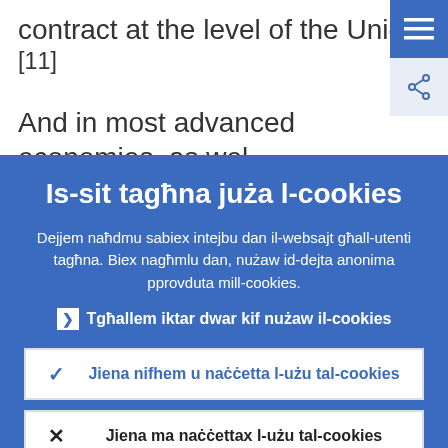contract at the level of the Union.[11] And in most advanced economies, as well as in most macroeconomic models, government debt is always perceived to be
Is-sit tagħna juża l-cookies
Dejjem naħdmu sabiex intejbu dan il-websajt għall-utenti tagħna. Biex nagħmlu dan, nużaw id-dejta anonima pprovduta mill-cookies.
▸ Tgħallem iktar dwar kif nużaw il-cookies
✓ Jiena nifhem u naċċetta l-użu tal-cookies
✗ Jiena ma naċċettax l-użu tal-cookies